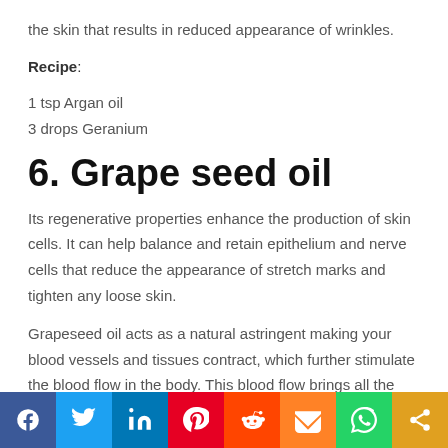the skin that results in reduced appearance of wrinkles.
Recipe:
1 tsp Argan oil
3 drops Geranium
6. Grape seed oil
Its regenerative properties enhance the production of skin cells. It can help balance and retain epithelium and nerve cells that reduce the appearance of stretch marks and tighten any loose skin.
Grapeseed oil acts as a natural astringent making your blood vessels and tissues contract, which further stimulate the blood flow in the body. This blood flow brings all the
Social share bar: Facebook, Twitter, LinkedIn, Pinterest, Reddit, Mix, WhatsApp, Share